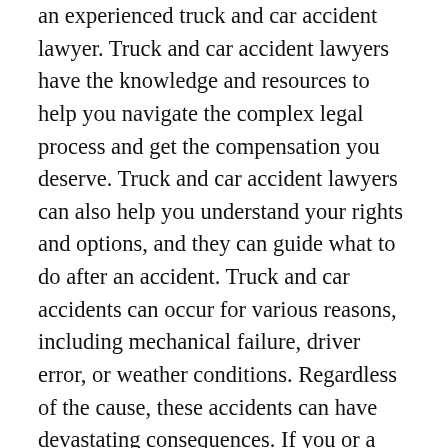an experienced truck and car accident lawyer. Truck and car accident lawyers have the knowledge and resources to help you navigate the complex legal process and get the compensation you deserve. Truck and car accident lawyers can also help you understand your rights and options, and they can guide what to do after an accident. Truck and car accidents can occur for various reasons, including mechanical failure, driver error, or weather conditions. Regardless of the cause, these accidents can have devastating consequences. If you or a loved one have been injured in a truck or car accident, you may be able to recover damages for your medical expenses, lost wages, and pain and suffering. A truck and car accident lawyer can evaluate